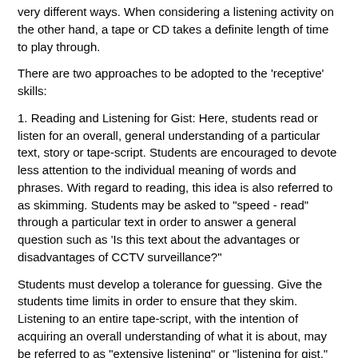very different ways. When considering a listening activity on the other hand, a tape or CD takes a definite length of time to play through.
There are two approaches to be adopted to the 'receptive' skills:
1. Reading and Listening for Gist: Here, students read or listen for an overall, general understanding of a particular text, story or tape-script. Students are encouraged to devote less attention to the individual meaning of words and phrases. With regard to reading, this idea is also referred to as skimming. Students may be asked to "speed - read" through a particular text in order to answer a general question such as 'Is this text about the advantages or disadvantages of CCTV surveillance?"
Students must develop a tolerance for guessing. Give the students time limits in order to ensure that they skim. Listening to an entire tape-script, with the intention of acquiring an overall understanding of what it is about, may be referred to as "extensive listening" or "listening for gist."
2. Reading and Listening for Specific Information: Here, students read or listen for specific information. Students are encouraged to select information specifically as it is given and detail...